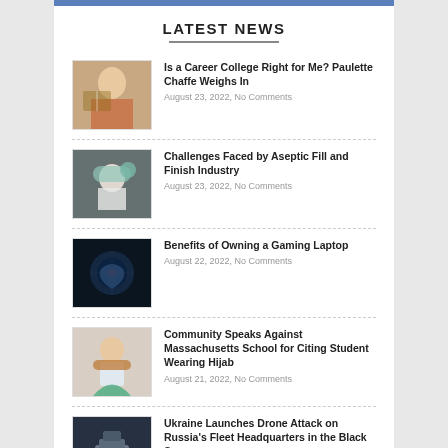LATEST NEWS
Is a Career College Right for Me? Paulette Chaffe Weighs In — August 23, 2022, No Comments
Challenges Faced by Aseptic Fill and Finish Industry — August 23, 2022, No Comments
Benefits of Owning a Gaming Laptop — August 22, 2022, No Comments
Community Speaks Against Massachusetts School for Citing Student Wearing Hijab — August 21, 2022, No Comments
Ukraine Launches Drone Attack on Russia's Fleet Headquarters in the Black Sea — August 20, 2022, No Comments